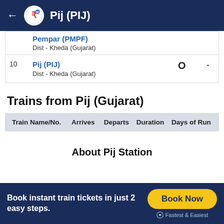Pij (PIJ)
| # | Station | O | - |
| --- | --- | --- | --- |
|  | Pempar (PMPF)
Dist - Kheda (Gujarat) |  |  |
| 10 | Pij (PIJ)
Dist - Kheda (Gujarat) | O | - |
Trains from Pij (Gujarat)
| Train Name/No. | Arrives | Departs | Duration | Days of Run |
| --- | --- | --- | --- | --- |
About Pij Station
Book instant train tickets in just 2 easy steps.